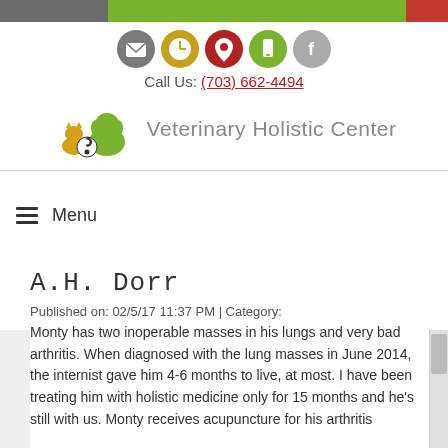[Figure (other): Website header with colored top bar (gray, green, red sections), five circular icon buttons (email, clock, location pin, mobile, facebook), phone number, and Veterinary Holistic Center logo with animals]
Call Us: (703) 662-4494
A.H. Dorr
Published on: 02/5/17 11:37 PM | Category:
Monty has two inoperable masses in his lungs and very bad arthritis. When diagnosed with the lung masses in June 2014, the internist gave him 4-6 months to live, at most. I have been treating him with holistic medicine only for 15 months and he's still with us. Monty receives acupuncture for his arthritis